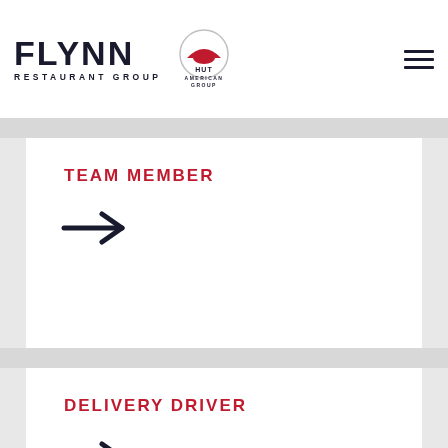FLYNN RESTAURANT GROUP | HUT AMERICAN GROUP
TEAM MEMBER
[Figure (illustration): Right-pointing arrow icon]
DELIVERY DRIVER
[Figure (illustration): Right-pointing arrow icon]
SHIFT LEADERS & MANAGEMENT
[Figure (illustration): Right-pointing arrow icon]